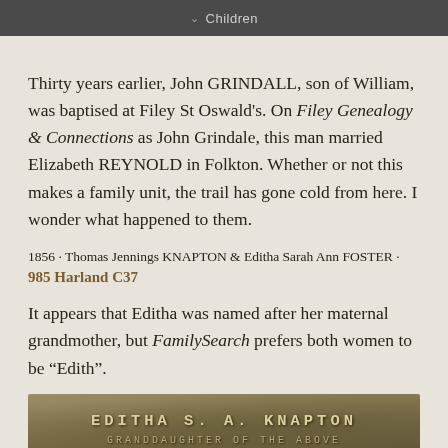Children
Thirty years earlier, John GRINDALL, son of William, was baptised at Filey St Oswald's. On Filey Genealogy & Connections as John Grindale, this man married Elizabeth REYNOLD in Folkton. Whether or not this makes a family unit, the trail has gone cold from here. I wonder what happened to them.
1856 · Thomas Jennings KNAPTON & Editha Sarah Ann FOSTER · 985 Harland C37
It appears that Editha was named after her maternal grandmother, but FamilySearch prefers both women to be “Edith”.
[Figure (photo): Gravestone inscription reading 'EDITHA S. A. KNAPTON' and partially visible second line 'GRANDDAUGHTER OF THE ABOVE']